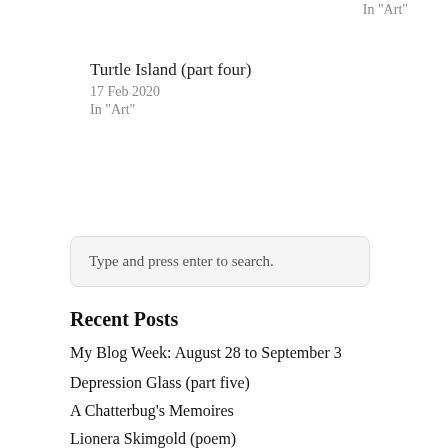In "Art"
Turtle Island (part four)
17 Feb 2020
In "Art"
Type and press enter to search.
Recent Posts
My Blog Week: August 28 to September 3
Depression Glass (part five)
A Chatterbug's Memoires
Lionera Skimgold (poem)
The Totem-Maker: A Mother or a Father (part seven)